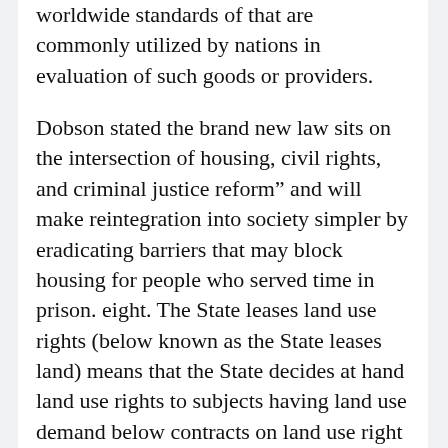worldwide standards of that are commonly utilized by nations in evaluation of such goods or providers.
Dobson stated the brand new law sits on the intersection of housing, civil rights, and criminal justice reform” and will make reintegration into society simpler by eradicating barriers that may block housing for people who served time in prison. eight. The State leases land use rights (below known as the State leases land) means that the State decides at hand land use rights to subjects having land use demand below contracts on land use right lease.
three. Ads for goods and providers that are banned or restricted from business or banned from advertisement by the State. 1. Digital public providers to be supplied embody registration of